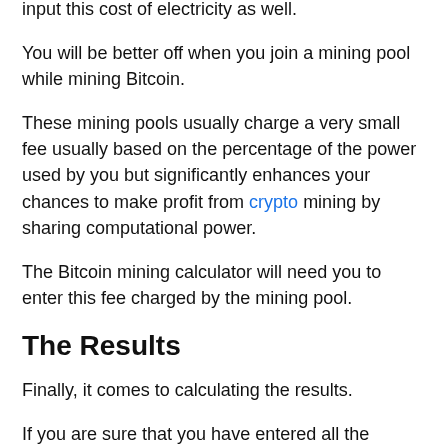input this cost of electricity as well.
You will be better off when you join a mining pool while mining Bitcoin.
These mining pools usually charge a very small fee usually based on the percentage of the power used by you but significantly enhances your chances to make profit from crypto mining by sharing computational power.
The Bitcoin mining calculator will need you to enter this fee charged by the mining pool.
The Results
Finally, it comes to calculating the results.
If you are sure that you have entered all the necessary details into the Bitcoin mining